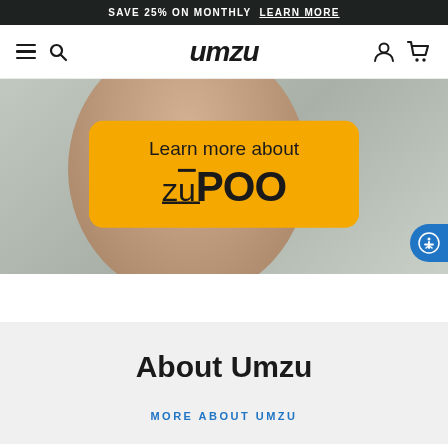SAVE 25% ON MONTHLY  LEARN MORE
[Figure (logo): UMZU brand logo in bold italic black text centered in navigation bar]
[Figure (photo): Hero banner showing a yellow/amber rounded rectangle badge over a blurred skin-tone background, with text 'Learn more about zuPOO']
About Umzu
MORE ABOUT UMZU